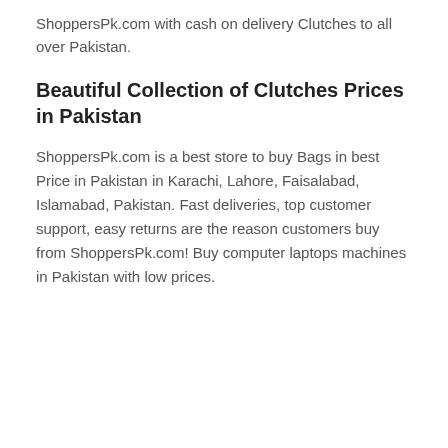ShoppersPk.com with cash on delivery Clutches to all over Pakistan.
Beautiful Collection of Clutches Prices in Pakistan
ShoppersPk.com is a best store to buy Bags in best Price in Pakistan in Karachi, Lahore, Faisalabad, Islamabad, Pakistan. Fast deliveries, top customer support, easy returns are the reason customers buy from ShoppersPk.com! Buy computer laptops machines in Pakistan with low prices.